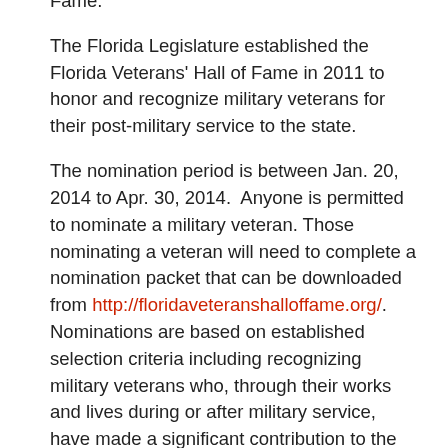Fame.
The Florida Legislature established the Florida Veterans' Hall of Fame in 2011 to honor and recognize military veterans for their post-military service to the state.
The nomination period is between Jan. 20, 2014 to Apr. 30, 2014.  Anyone is permitted to nominate a military veteran. Those nominating a veteran will need to complete a nomination packet that can be downloaded from http://floridaveteranshalloffame.org/. Nominations are based on established selection criteria including recognizing military veterans who, through their works and lives during or after military service, have made a significant contribution to the state of Florida through civic, business, public service or other pursuits.  It is not a traditional military hall of fame, as it focuses on post-military contributions to the State of Florida. Letters notifying inductees are mailed later in the year to the nominators and up to 20 military veterans can be inducted into the hall each year.
“We are pleased that we are able to continue this tradition of recognizing veterans for their leadership and civic contributions to the state,” said retired Air Force Col. Bruce Host, a former